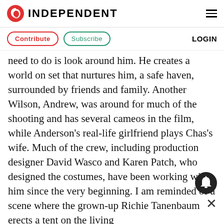INDEPENDENT
Contribute   Subscribe   LOGIN
need to do is look around him. He creates a world on set that nurtures him, a safe haven, surrounded by friends and family. Another Wilson, Andrew, was around for much of the shooting and has several cameos in the film, while Anderson's real-life girlfriend plays Chas's wife. Much of the crew, including production designer David Wasco and Karen Patch, who designed the costumes, have been working with him since the very beginning. I am reminded of a scene where the grown-up Richie Tanenbaum erects a tent on the living